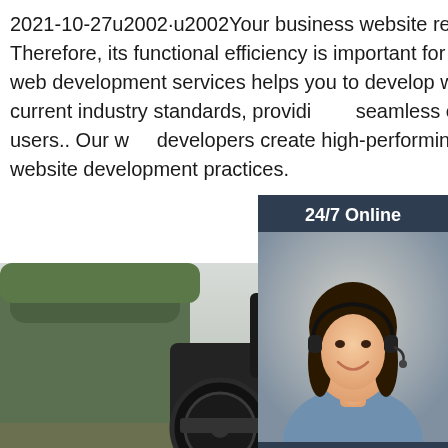2021-10-27u2002·u2002Your business website represents your brand. Therefore, its functional efficiency is important for your market reputation. Our web development services helps you to develop websites that comply with current industry standards, providing a seamless experience to your end-users.. Our web developers create high-performing websites using state-of-art website development practices.
[Figure (photo): 24/7 Online customer support sidebar widget showing a woman with headset, 'Click here for free chat!' text and an orange QUOTATION button]
Get Price
[Figure (photo): A tractor/bulldozer working near dense green trees against a grey sky background]